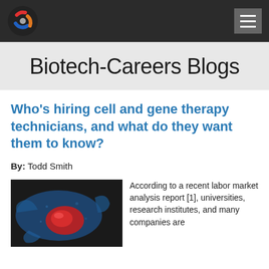Biotech-Careers Blogs [nav bar with logo and hamburger menu]
Biotech-Careers Blogs
Who's hiring cell and gene therapy technicians, and what do they want them to know?
By: Todd Smith
[Figure (photo): Colorized electron microscope image of a cell with blue and red coloring on dark background]
According to a recent labor market analysis report [1], universities, research institutes, and many companies are